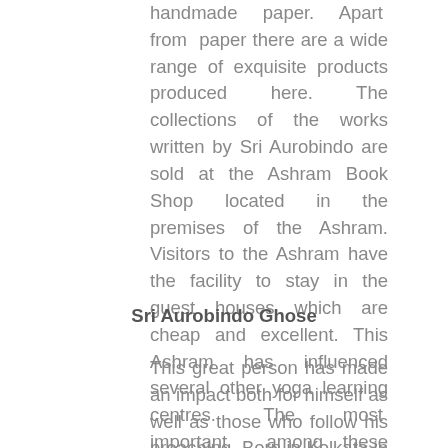handmade paper. Apart from paper there are a wide range of exquisite products produced here. The collections of the works written by Sri Aurobindo are sold at the Ashram Book Shop located in the premises of the Ashram. Visitors to the Ashram have the facility to stay in the guest houses which are cheap and excellent. This Ashram has influenced several other yoga learning centres. The most important among these yoga learning centres is the famous International Centre for Yoga Education and Research which is also known as the Ananda Ashram.
Sri Aurobindo Ghose
This great person has made an impact both for himself as well as those who follow his preaching. Born in Kolkata in the year 15th August, 1872, Aurobindo spent his early life for a while in